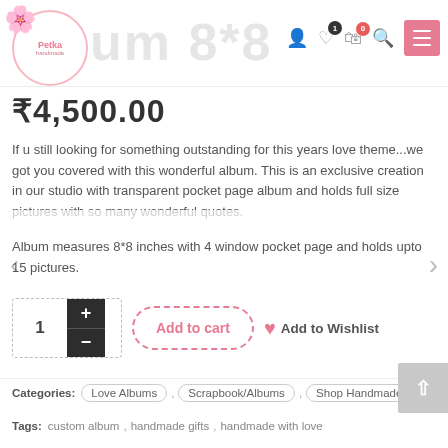Petka logo and navigation header with icons
₹4,500.00
If u still looking for something outstanding for this years love theme...we got you covered with this wonderful album. This is an exclusive creation in our studio with transparent pocket page album and holds full size pictures with so many wonderful quotes.
Album measures 8*8 inches with 4 window pocket page and holds upto 15 pictures.
1  +  -   Add to cart   ♥ Add to Wishlist
Categories: Love Albums , Scrapbook/Albums , Shop Handmade
Tags: custom album , handmade gifts , handmade with love